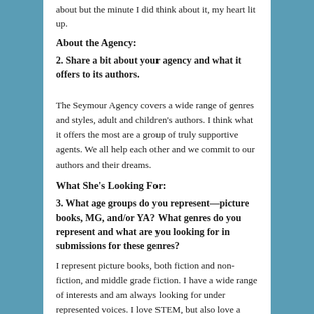about but the minute I did think about it, my heart lit up.
About the Agency:
2. Share a bit about your agency and what it offers to its authors.
The Seymour Agency covers a wide range of genres and styles, adult and children's authors. I think what it offers the most are a group of truly supportive agents. We all help each other and we commit to our authors and their dreams.
What She's Looking For:
3. What age groups do you represent—picture books, MG, and/or YA? What genres do you represent and what are you looking for in submissions for these genres?
I represent picture books, both fiction and non-fiction, and middle grade fiction. I have a wide range of interests and am always looking for under represented voices. I love STEM, but also love a great story for